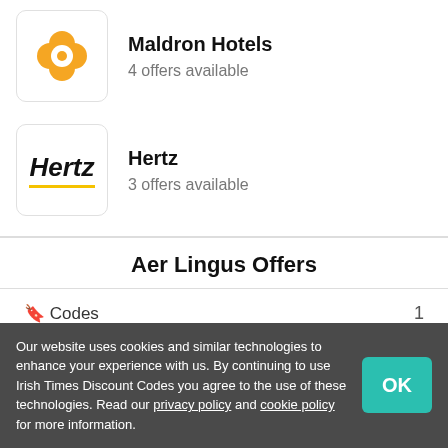[Figure (logo): Maldron Hotels flower/clover logo in orange]
Maldron Hotels
4 offers available
[Figure (logo): Hertz car rental logo in black italic with yellow underline]
Hertz
3 offers available
Aer Lingus Offers
Codes   1
Deals   6
Our website uses cookies and similar technologies to enhance your experience with us. By continuing to use Irish Times Discount Codes you agree to the use of these technologies. Read our privacy policy and cookie policy for more information.